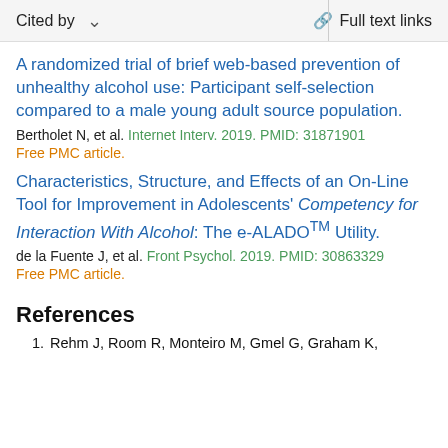Cited by   ∨   Full text links
A randomized trial of brief web-based prevention of unhealthy alcohol use: Participant self-selection compared to a male young adult source population.
Bertholet N, et al. Internet Interv. 2019. PMID: 31871901
Free PMC article.
Characteristics, Structure, and Effects of an On-Line Tool for Improvement in Adolescents' Competency for Interaction With Alcohol: The e-ALADO™ Utility.
de la Fuente J, et al. Front Psychol. 2019. PMID: 30863329
Free PMC article.
References
1. Rehm J, Room R, Monteiro M, Gmel G, Graham K, et al. (2003) Alcohol as a risk factor for global burden of disease.